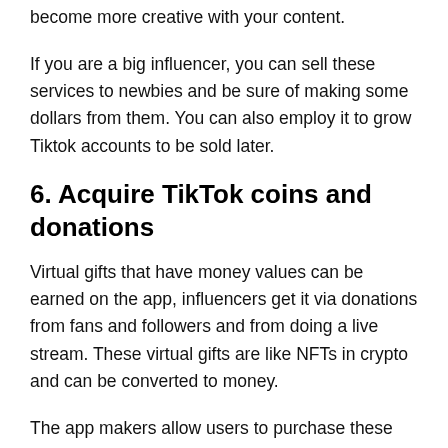become more creative with your content.
If you are a big influencer, you can sell these services to newbies and be sure of making some dollars from them. You can also employ it to grow Tiktok accounts to be sold later.
6. Acquire TikTok coins and donations
Virtual gifts that have money values can be earned on the app, influencers get it via donations from fans and followers and from doing a live stream. These virtual gifts are like NFTs in crypto and can be converted to money.
The app makers allow users to purchase these coins and gifts from their profile and once purchased the money value is credited to the influencer's account or the person selling. The prices are variable and are seen at the time of purchase.
Those who own coins can also use them to buy gifts